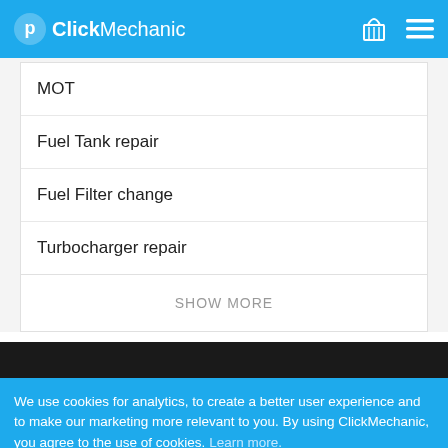ClickMechanic
MOT
Fuel Tank repair
Fuel Filter change
Turbocharger repair
SHOW MORE
We use cookies for analytics, to create a better user experience and to make our marketing more relevant to you. By using ClickMechanic, you agree to the use of cookies. Learn more.
Adjust
Accept